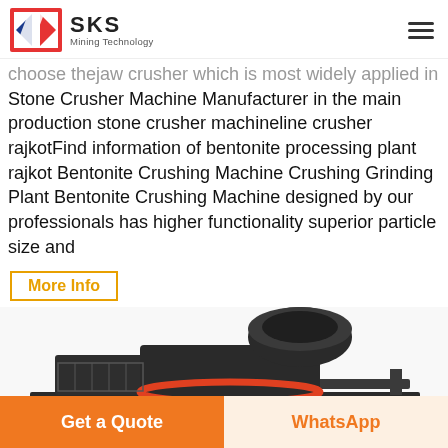SKS Mining Technology
choose thejaw crusher which is most widely applied in Stone Crusher Machine Manufacturer in the main production stone crusher machineline crusher rajkotFind information of bentonite processing plant rajkot Bentonite Crushing Machine Crushing Grinding Plant Bentonite Crushing Machine designed by our professionals has higher functionality superior particle size and
More Info
[Figure (photo): Industrial stone crusher / jaw crusher machine photographed from above/side angle, showing dark metal body with red accents and cylindrical flywheel on top]
Get a Quote
WhatsApp